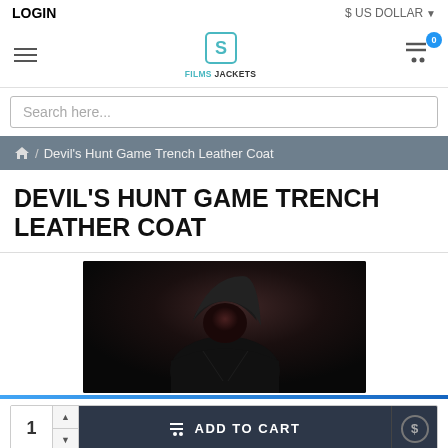LOGIN | $ US DOLLAR
[Figure (logo): Films Jackets logo with stylized S icon in teal/cyan color]
Search here...
🏠 / Devil's Hunt Game Trench Leather Coat
DEVIL'S HUNT GAME TRENCH LEATHER COAT
[Figure (photo): Dark atmospheric image of a hooded figure in a black trench leather coat against dark background]
1  ADD TO CART